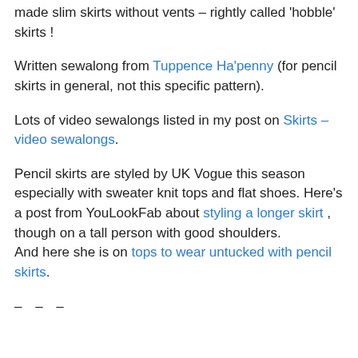made slim skirts without vents – rightly called 'hobble' skirts !
Written sewalong from Tuppence Ha'penny (for pencil skirts in general, not this specific pattern).
Lots of video sewalongs listed in my post on Skirts – video sewalongs.
Pencil skirts are styled by UK Vogue this season especially with sweater knit tops and flat shoes. Here's a post from YouLookFab about styling a longer skirt , though on a tall person with good shoulders. And here she is on tops to wear untucked with pencil skirts.
– – –